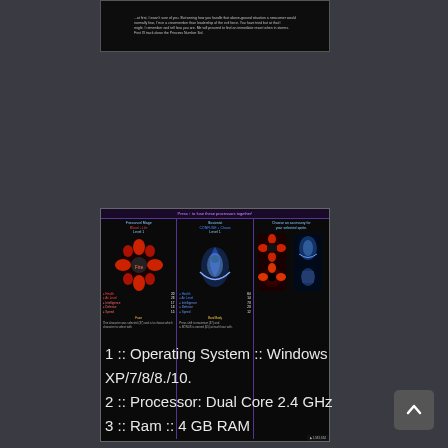[Figure (screenshot): Dark game dialog screenshot showing text about a character interaction or storyline, with game UI elements]
[Figure (screenshot): Game character selection/comparison screen with three columns: Firecancel Mage (Blood +Life, Level 1), Illusionist (Control + Chaos, Level 1), and a character selection panel. Stats shown: Health, Air Level, Intelligence, Defense, Speed. Character sprites visible.]
1 :: Operating System :: Windows XP/7/8/8./10.
2 :: Processor: Dual Core 2.4 GHz
3 :: Ram :: 4 GB RAM